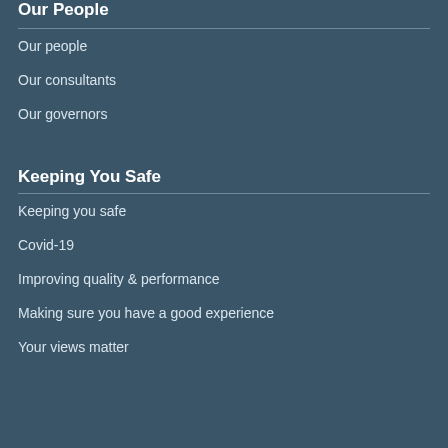Our People
Our people
Our consultants
Our governors
Keeping You Safe
Keeping you safe
Covid-19
Improving quality & performance
Making sure you have a good experience
Your views matter